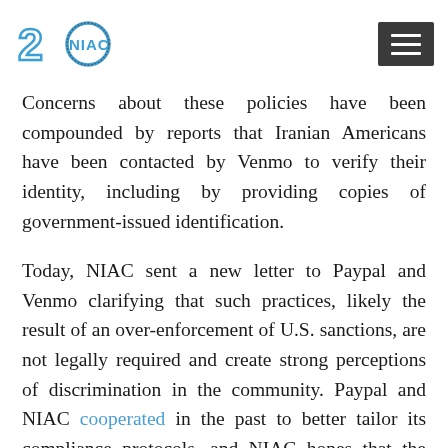NIAC 20th anniversary logo and hamburger menu
Concerns about these policies have been compounded by reports that Iranian Americans have been contacted by Venmo to verify their identity, including by providing copies of government-issued identification.
Today, NIAC sent a new letter to Paypal and Venmo clarifying that such practices, likely the result of an over-enforcement of U.S. sanctions, are not legally required and create strong perceptions of discrimination in the community. Paypal and NIAC cooperated in the past to better tailor its compliance protocols, and NIAC hopes that the company will once again engage with the Iranian-American community on a productive path forward. As stated in the letter, “Nobody should feel